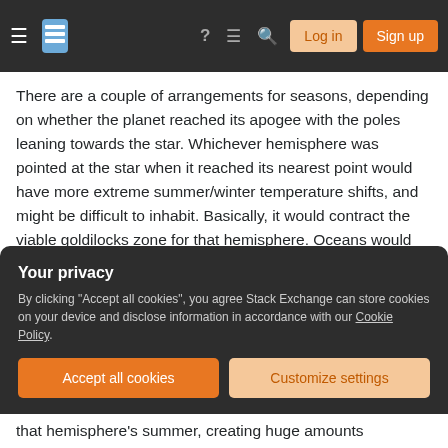Stack Exchange navigation bar with hamburger menu, logo, help, chat, search icons, Log in and Sign up buttons
There are a couple of arrangements for seasons, depending on whether the planet reached its apogee with the poles leaning towards the star. Whichever hemisphere was pointed at the star when it reached its nearest point would have more extreme summer/winter temperature shifts, and might be difficult to inhabit. Basically, it would contract the viable goldilocks zone for that hemisphere. Oceans would freeze in the winter and boil in the summer. You could call those seasons if you felt a need.
Your privacy
By clicking "Accept all cookies", you agree Stack Exchange can store cookies on your device and disclose information in accordance with our Cookie Policy.
Accept all cookies   Customize settings
that hemisphere's summer, creating huge amounts